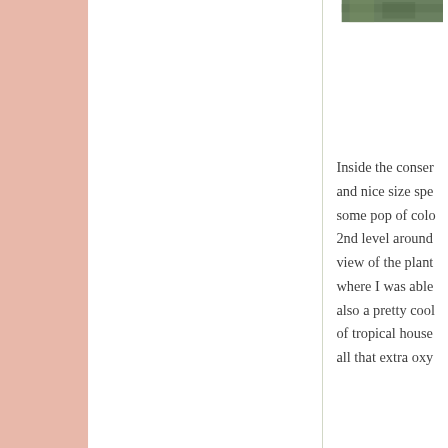[Figure (photo): Partial photo of plants/greenery visible at top right corner]
Inside the conser and nice size spe some pop of colo 2nd level around view of the plant where I was able also a pretty cool of tropical house all that extra oxy
[Figure (photo): Interior photo of a geodesic dome structure with triangular metal frame panels and tropical plants visible below]